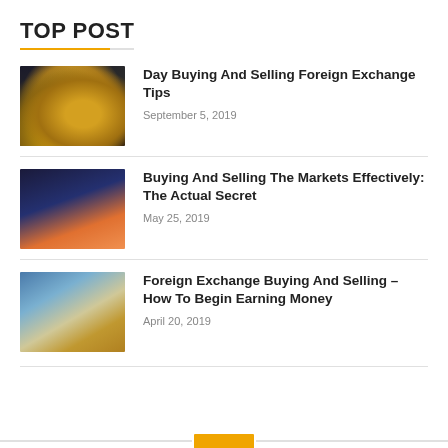TOP POST
[Figure (photo): Stack of gold coins on dark background with financial chart]
Day Buying And Selling Foreign Exchange Tips
September 5, 2019
[Figure (photo): Person in trading room with multiple monitors showing charts]
Buying And Selling The Markets Effectively: The Actual Secret
May 25, 2019
[Figure (photo): Foreign currency banknotes and coins]
Foreign Exchange Buying And Selling – How To Begin Earning Money
April 20, 2019